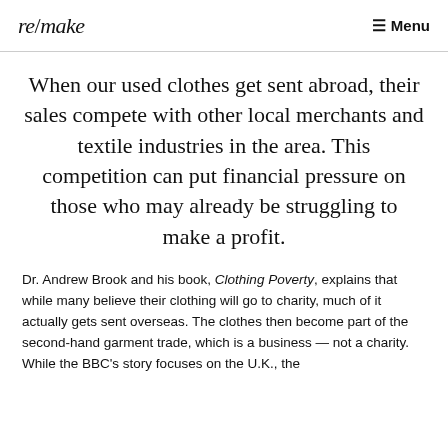re/make  Menu
When our used clothes get sent abroad, their sales compete with other local merchants and textile industries in the area. This competition can put financial pressure on those who may already be struggling to make a profit.
Dr. Andrew Brook and his book, Clothing Poverty, explains that while many believe their clothing will go to charity, much of it actually gets sent overseas. The clothes then become part of the second-hand garment trade, which is a business — not a charity. While the BBC's story focuses on the U.K., the